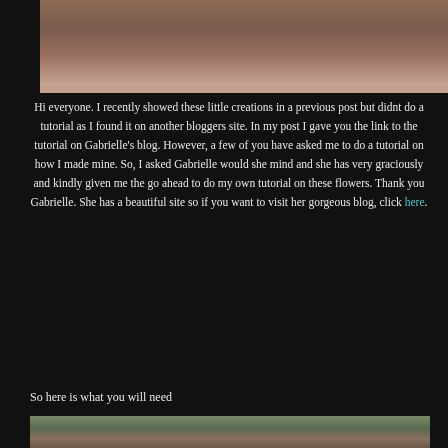[Figure (photo): Close-up photo of hands or dried flower petals arranged decoratively on a light background]
Hi everyone.  I recently showed these little creations in a previous post but didnt do a tutorial as I found it on another bloggers site.  In my post I gave you the link to the tutorial on Gabrielle's blog.  However, a few of you have asked me to do a tutorial on how I made mine.  So, I asked Gabrielle would she mind and she has very graciously and kindly given me the go ahead to do my own tutorial on these flowers.  Thank you Gabrielle.  She has a beautiful site so if you want to visit her gorgeous blog, click here.
So here is what you will need
[Figure (photo): Photo of craft supplies or tools needed for the tutorial, partially visible at bottom of page]